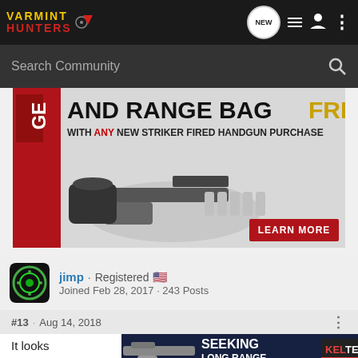[Figure (screenshot): Varmint Hunters website navigation bar with logo, NEW button, list icon, user icon, and menu dots]
[Figure (screenshot): Search Community input bar with magnifying glass icon]
[Figure (photo): Advertisement banner: 'GET AND RANGE BAG FREE WITH ANY NEW STRIKER FIRED HANDGUN PURCHASE - LEARN MORE' with gun and bag imagery]
jimp · Registered
Joined Feb 28, 2017 · 243 Posts
#13 · Aug 14, 2018
It looks  and experien  y shot
[Figure (photo): Advertisement: SEEKING LONG RANGE RELATIONSHIP - KEL TEC THE CP33 PISTOL]